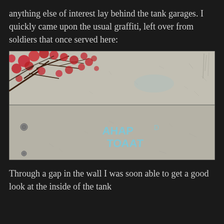anything else of interest lay behind the tank garages. I quickly came upon the usual graffiti, left over from soldiers that once served here:
[Figure (photo): A concrete wall with graffiti written in light blue text (Cyrillic characters: АНАР / ТОААТ or similar). Red-leafed tree branches are visible in the upper left corner. The wall is divided horizontally into two large concrete blocks.]
Through a gap in the wall I was soon able to get a good look at the inside of the tank